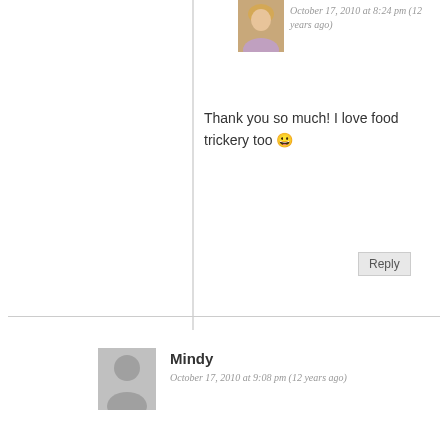[Figure (photo): Small avatar photo of a woman with blonde hair, cropped thumbnail]
October 17, 2010 at 8:24 pm (12 years ago)
Thank you so much! I love food trickery too 😀
Reply
Mindy
October 17, 2010 at 9:08 pm (12 years ago)
These are both creative ideas, but I particularly like the tricky cupfakes! Way to go!
Reply
Julie @ Willow Bird Baking
October 17, 2010 at 9:10 pm (12 years
[Figure (photo): Small avatar photo of a woman with blonde hair]
Reach out to a friend about their mental health. Learn more
SEIZE THE AWKWARD